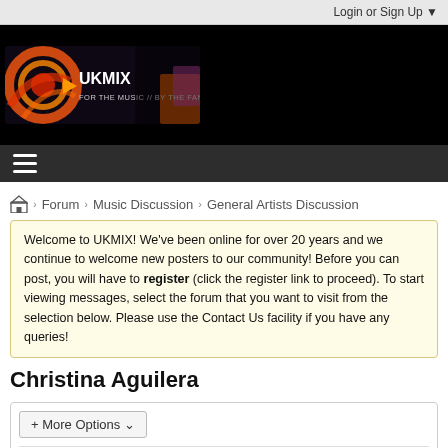Login or Sign Up ▼
[Figure (logo): UKMIX logo banner — dark background with colorful circular graphic, text 'UKMIX' and 'FOR THE MUSIC // BY THE FANS']
≡ (hamburger menu icon)
🏠 > Forum > Music Discussion > General Artists Discussion
Welcome to UKMIX! We've been online for over 20 years and we continue to welcome new posters to our community! Before you can post, you will have to register (click the register link to proceed). To start viewing messages, select the forum that you want to visit from the selection below. Please use the Contact Us facility if you have any queries!
Christina Aguilera
+ More Options ▾
Filter ▼